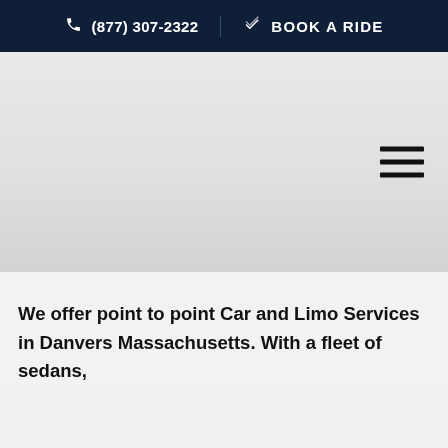(877) 307-2322  BOOK A RIDE
[Figure (screenshot): Large gray hero/banner area with a hamburger menu icon (three horizontal lines) positioned in the upper right corner]
We offer point to point Car and Limo Services in Danvers Massachusetts. With a fleet of sedans,